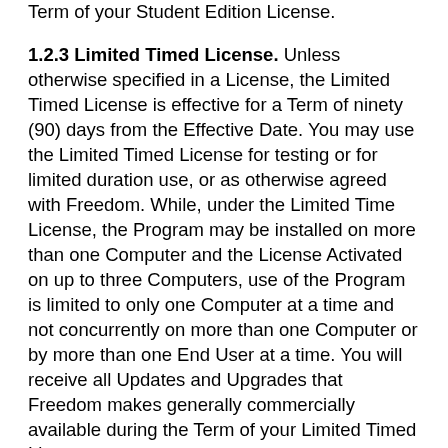Term of your Student Edition License.
1.2.3 Limited Timed License. Unless otherwise specified in a License, the Limited Timed License is effective for a Term of ninety (90) days from the Effective Date. You may use the Limited Timed License for testing or for limited duration use, or as otherwise agreed with Freedom. While, under the Limited Time License, the Program may be installed on more than one Computer and the License Activated on up to three Computers, use of the Program is limited to only one Computer at a time and not concurrently on more than one Computer or by more than one End User at a time. You will receive all Updates and Upgrades that Freedom makes generally commercially available during the Term of your Limited Timed License.
1.2.4 40-Minute Mode. The 40 Minute Mode is provided as a limited time duration license mode of the Program, which can be used to get started during the installation process of the Program or